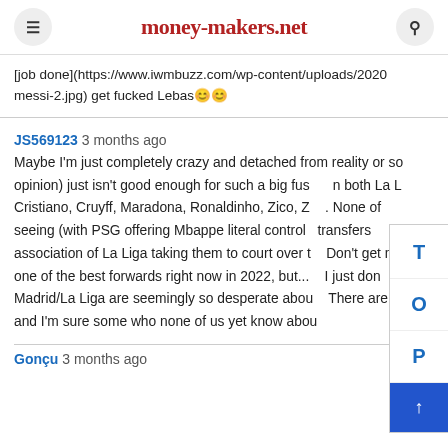money-makers.net
[job done](https://www.iwmbuzz.com/wp-content/uploads/2020/messi-2.jpg) get fucked Lebas😊😊
JS569123 3 months ago
Maybe I'm just completely crazy and detached from reality or so opinion) just isn't good enough for such a big fus both La L Cristiano, Cruyff, Maradona, Ronaldinho, Zico, Z . None of seeing (with PSG offering Mbappe literal control transfers association of La Liga taking them to court over Don't get m one of the best forwards right now in 2022, but... I just don Madrid/La Liga are seemingly so desperate abou There are and I'm sure some who none of us yet know abou
Gonçu 3 months ago